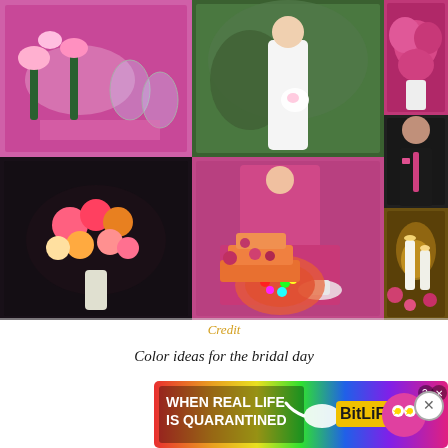[Figure (photo): Wedding color inspiration collage: multiple photos showing pink/fuchsia floral arrangements, table settings, a bride and groom, colorful candy jars, a tiered wedding cake, and candle centerpieces]
Credit
Color ideas for the bridal day
[Figure (photo): Advertisement banner: 'WHEN REAL LIFE IS QUARANTINED' BitLife app ad with rainbow gradient background, mascot character, and close button]